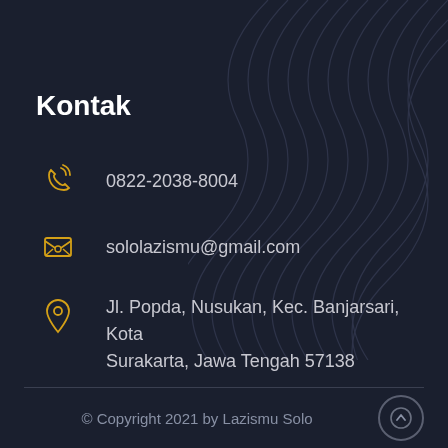Kontak
0822-2038-8004
sololazismu@gmail.com
Jl. Popda, Nusukan, Kec. Banjarsari, Kota Surakarta, Jawa Tengah 57138
© Copyright 2021 by Lazismu Solo